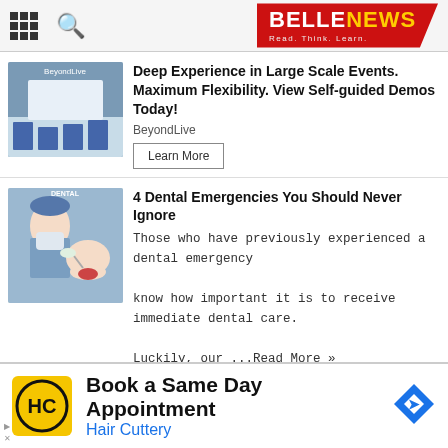BELLE NEWS — Read. Think. Learn.
Deep Experience in Large Scale Events. Maximum Flexibility. View Self-guided Demos Today!
BeyondLive
Learn More
4 Dental Emergencies You Should Never Ignore
Those who have previously experienced a dental emergency know how important it is to receive immediate dental care. Luckily, our ...Read More »
Selling Your First Ever House: A Guide
Selling your first house is a huge milestone in your life. And if you're careful enough, and work with the ...Read More »
Book a Same Day Appointment
Hair Cuttery